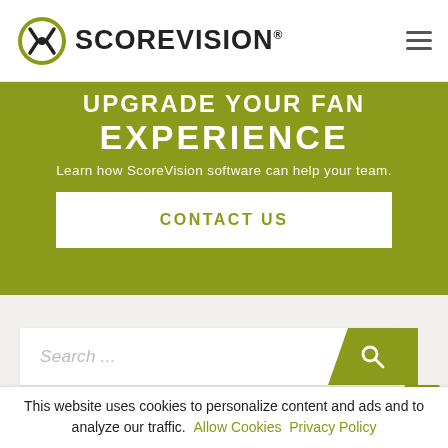SCOREVISION®
UPGRADE YOUR FAN EXPERIENCE
Learn how ScoreVision software can help your team.
CONTACT US
Search ...
OUR SOFTWARE
Fan Engagement Software
This website uses cookies to personalize content and ads and to analyze our traffic. Allow Cookies  Privacy Policy